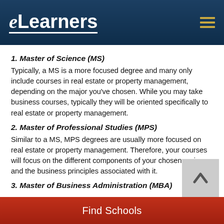eLearners
1. Master of Science (MS)
Typically, a MS is a more focused degree and many only include courses in real estate or property management, depending on the major you've chosen. While you may take business courses, typically they will be oriented specifically to real estate or property management.
2. Master of Professional Studies (MPS)
Similar to a MS, MPS degrees are usually more focused on real estate or property management. Therefore, your courses will focus on the different components of your chosen major and the business principles associated with it.
3. Master of Business Administration (MBA)
Find Schools